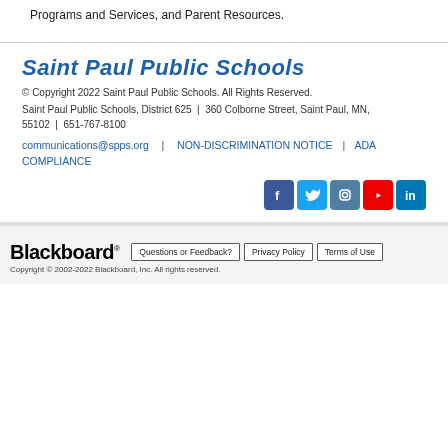Programs and Services, and Parent Resources.
Saint Paul Public Schools
© Copyright 2022 Saint Paul Public Schools. All Rights Reserved.
Saint Paul Public Schools, District 625  |  360 Colborne Street, Saint Paul, MN, 55102  |  651-767-8100
communications@spps.org  |  NON-DISCRIMINATION NOTICE  |  ADA COMPLIANCE
[Figure (other): Social media icons: Facebook, Twitter, Instagram, YouTube, LinkedIn]
Blackboard  Questions or Feedback?  Privacy Policy  Terms of Use  Copyright © 2002-2022 Blackboard, Inc. All rights reserved.